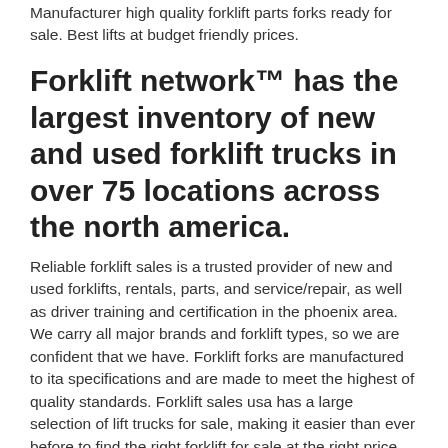Manufacturer high quality forklift parts forks ready for sale. Best lifts at budget friendly prices.
Forklift network™ has the largest inventory of new and used forklift trucks in over 75 locations across the north america.
Reliable forklift sales is a trusted provider of new and used forklifts, rentals, parts, and service/repair, as well as driver training and certification in the phoenix area. We carry all major brands and forklift types, so we are confident that we have. Forklift forks are manufactured to ita specifications and are made to meet the highest of quality standards. Forklift sales usa has a large selection of lift trucks for sale, making it easier than ever before to find the right forklift for sale at the right price. Manufacturer high quality forklift parts forks ready for sale. Warehouse forklifts & stackers ⌐ warehouse loading & unloading ⌐ material handling ⌐ business, office & industrial all categories antiques art baby books,